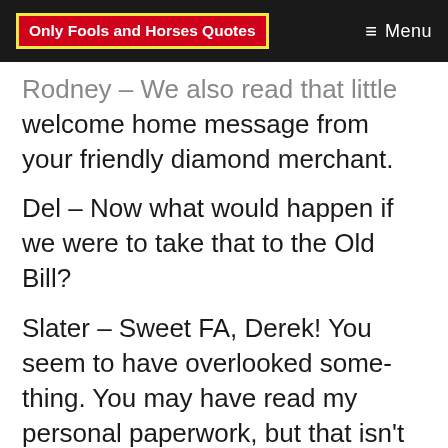Only Fools and Horses Quotes | Menu
Rodney – We also read that little welcome home message from your friendly diamond merchant.
Del – Now what would happen if we were to take that to the Old Bill?
Slater – Sweet FA, Derek! You seem to have overlooked some- thing. You may have read my personal paperwork, but that isn't proof!